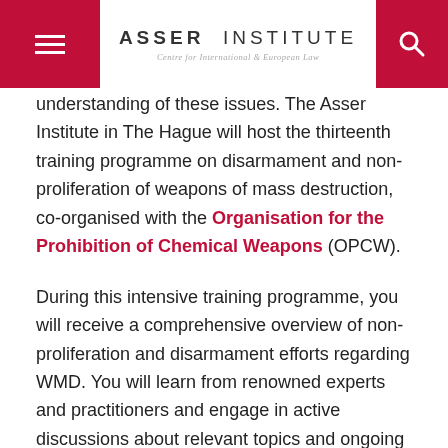ASSER INSTITUTE — Centre for International & European Law
understanding of these issues. The Asser Institute in The Hague will host the thirteenth training programme on disarmament and non-proliferation of weapons of mass destruction, co-organised with the Organisation for the Prohibition of Chemical Weapons (OPCW).
During this intensive training programme, you will receive a comprehensive overview of non-proliferation and disarmament efforts regarding WMD. You will learn from renowned experts and practitioners and engage in active discussions about relevant topics and ongoing debates. The programme also provides you with the opportunity to build your professional network and connect with experts in the field, as well as with your fellow participants.
Sign up now